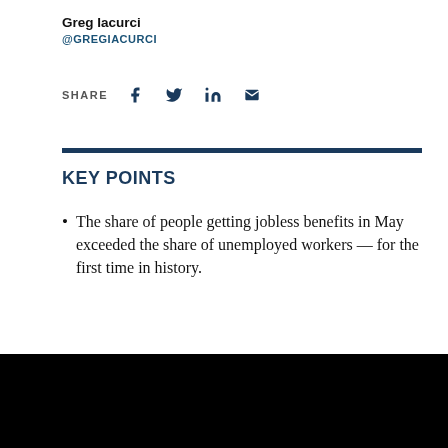Greg Iacurci
@GREGIACURCI
SHARE
KEY POINTS
The share of people getting jobless benefits in May exceeded the share of unemployed workers — for the first time in history.
[Figure (other): Black rectangle covering lower portion of page, obscuring content]